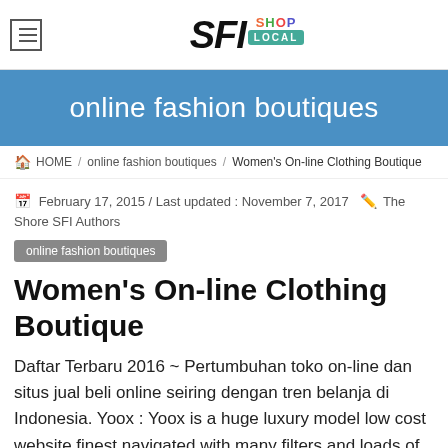SFI SHOP LOCAL
online fashion boutiques
HOME / online fashion boutiques / Women's On-line Clothing Boutique
February 17, 2015 / Last updated : November 7, 2017   The Shore SFI Authors
online fashion boutiques
Women's On-line Clothing Boutique
Daftar Terbaru 2016 ~ Pertumbuhan toko on-line dan situs jual beli online seiring dengan tren belanja di Indonesia. Yoox : Yoox is a huge luxury model low cost website finest navigated with many filters and loads of time to click around. Flick through our on-line style store to get more data on our newest arrivals and